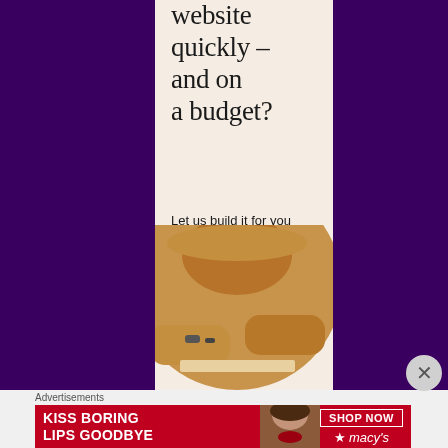[Figure (infographic): Web advertisement on dark purple background. Central cream/beige panel shows partial headline text 'website quickly – and on a budget?' with subtext 'Let us build it for you' and a white button 'Let's get started'. Bottom of panel shows a circular-cropped photo of a person wearing a hat, working on a laptop. Purple background flanks both sides.]
Advertisements
[Figure (infographic): Macy's advertisement banner on red background. Left side shows bold white text 'KISS BORING LIPS GOODBYE'. Center shows a photo of a woman's face with red lips. Right side shows white-bordered 'SHOP NOW' button and Macy's star logo branding.]